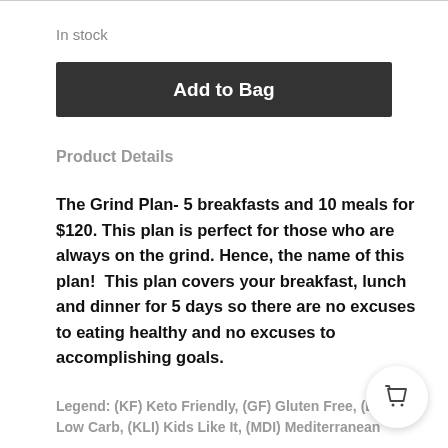In stock
Add to Bag
Product Details
The Grind Plan- 5 breakfasts and 10 meals for $120. This plan is perfect for those who are always on the grind. Hence, the name of this plan!  This plan covers your breakfast, lunch and dinner for 5 days so there are no excuses to eating healthy and no excuses to accomplishing goals.
Legend: (KF) Keto Friendly, (GF) Gluten Free, (LC) Low Carb, (KLI) Kids Like It, (MDI) Mediterranean